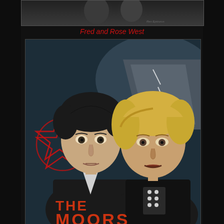[Figure (photo): Black and white photograph at top, partially visible, showing two people, dark background]
Fred and Rose West
[Figure (illustration): Painted illustration of two faces (man with dark hair on left, blonde woman on right) with a red pentagram symbol on left, a road in background, text reading 'THE MOORS' at bottom]